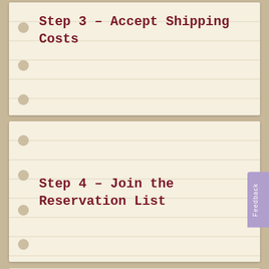Step 3 – Accept Shipping Costs
Step 4 – Join the Reservation List
[Figure (screenshot): Green chat bubble with waving hand icon and text 'Can I help you find something?', and a Schedule Chat button in orange below]
Feedback